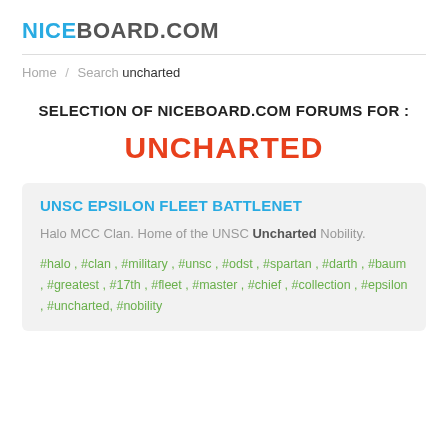NICEBOARD.COM
Home / Search uncharted
SELECTION OF NICEBOARD.COM FORUMS FOR :
UNCHARTED
UNSC EPSILON FLEET BATTLENET
Halo MCC Clan. Home of the UNSC Uncharted Nobility.
#halo , #clan , #military , #unsc , #odst , #spartan , #darth , #baum , #greatest , #17th , #fleet , #master , #chief , #collection , #epsilon , #uncharted, #nobility